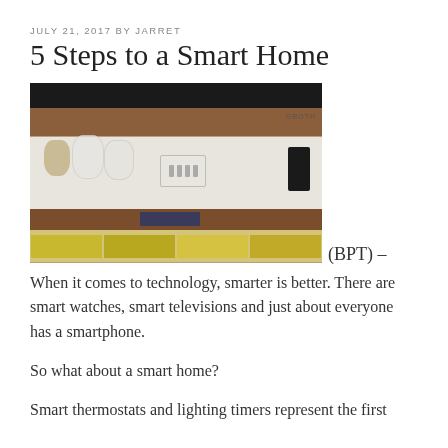JULY 21, 2017 BY JARRET
5 Steps to a Smart Home
[Figure (photo): Photo of wooden kitchen shelves with glass jars containing white powder and other items. Text GROTH visible in upper right of image.]
(BPT) – When it comes to technology, smarter is better. There are smart watches, smart televisions and just about everyone has a smartphone.
So what about a smart home?
Smart thermostats and lighting timers represent the first